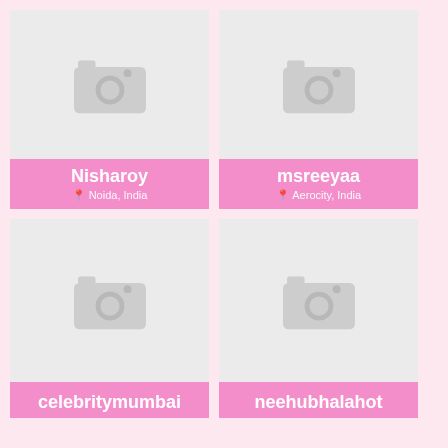[Figure (screenshot): Profile card for Nisharoy with placeholder camera icon, pink footer showing username Nisharoy and location Noida, India]
[Figure (screenshot): Profile card for msreeyaa with placeholder camera icon, pink footer showing username msreeyaa and location Aerocity, India]
[Figure (screenshot): Profile card for celebritymumbai with placeholder camera icon, pink footer partially visible at bottom]
[Figure (screenshot): Profile card for neehubhalahot with placeholder camera icon, pink footer partially visible at bottom]